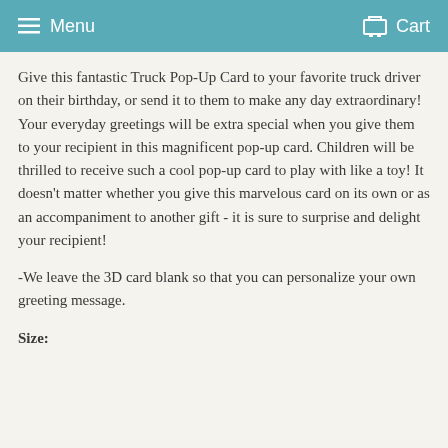Menu  Cart
Give this fantastic Truck Pop-Up Card to your favorite truck driver on their birthday, or send it to them to make any day extraordinary! Your everyday greetings will be extra special when you give them to your recipient in this magnificent pop-up card. Children will be thrilled to receive such a cool pop-up card to play with like a toy! It doesn’t matter whether you give this marvelous card on its own or as an accompaniment to another gift - it is sure to surprise and delight your recipient!
-We leave the 3D card blank so that you can personalize your own greeting message.
Size: